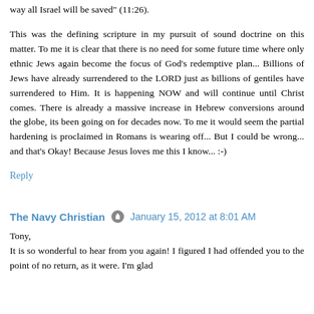way all Israel will be saved" (11:26).
This was the defining scripture in my pursuit of sound doctrine on this matter. To me it is clear that there is no need for some future time where only ethnic Jews again become the focus of God's redemptive plan... Billions of Jews have already surrendered to the LORD just as billions of gentiles have surrendered to Him. It is happening NOW and will continue until Christ comes. There is already a massive increase in Hebrew conversions around the globe, its been going on for decades now. To me it would seem the partial hardening is proclaimed in Romans is wearing off... But I could be wrong... and that's Okay! Because Jesus loves me this I know... :-)
Reply
The Navy Christian · January 15, 2012 at 8:01 AM
Tony,
It is so wonderful to hear from you again! I figured I had offended you to the point of no return, as it were. I'm glad